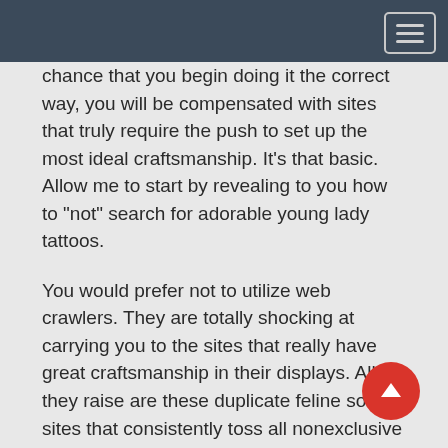chance that you begin doing it the correct way, you will be compensated with sites that truly require the push to set up the most ideal craftsmanship. It’s that basic. Allow me to start by revealing to you how to “not” search for adorable young lady tattoos.
You would prefer not to utilize web crawlers. They are totally shocking at carrying you to the sites that really have great craftsmanship in their displays. All they raise are these duplicate feline sort sites that consistently toss all nonexclusive garbage they can discover in their information base. Web indexes bring these pales up on the grounds that they have huge loads of fine art, yet why bother if each display of charming young lady tattoos is the very cutout stuff that great many